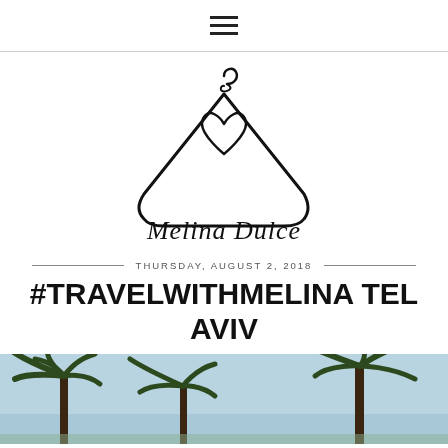☰
[Figure (logo): Melina Dulce logo: a wire clothes hanger with a heart shape in the center, and cursive text 'Melina Dulce' below]
THURSDAY, AUGUST 2, 2018
#TRAVELWITHMELINA TEL AVIV
[Figure (photo): Partial photo showing palm trees against a blue sky, cropped at bottom of page]